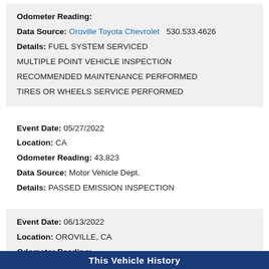Odometer Reading: | Data Source: Oroville Toyota Chevrolet 530.533.4626 | Details: FUEL SYSTEM SERVICED MULTIPLE POINT VEHICLE INSPECTION RECOMMENDED MAINTENANCE PERFORMED TIRES OR WHEELS SERVICE PERFORMED
Event Date: 05/27/2022 | Location: CA | Odometer Reading: 43,823 | Data Source: Motor Vehicle Dept. | Details: PASSED EMISSION INSPECTION
Event Date: 06/13/2022 | Location: OROVILLE, CA | Odometer Reading: | Data Source: Motor Vehicle Dept. | Details: TITLE(Lien Reported) PRO-RATED REGISTRATION
This Vehicle History